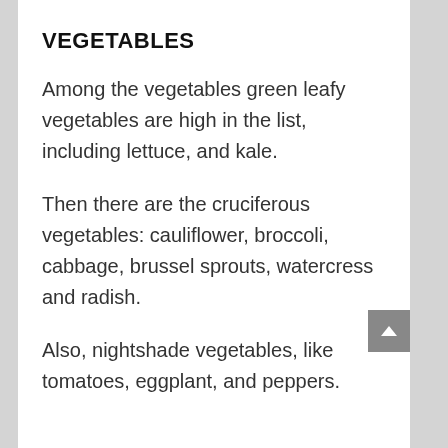VEGETABLES
Among the vegetables green leafy vegetables are high in the list, including lettuce, and kale.
Then there are the cruciferous vegetables: cauliflower, broccoli, cabbage, brussel sprouts, watercress and radish.
Also, nightshade vegetables, like tomatoes, eggplant, and peppers.